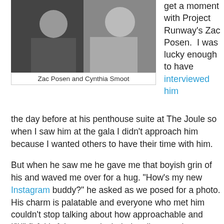[Figure (photo): Photo of Zac Posen and Cynthia Smoot at a gala event]
Zac Posen and Cynthia Smoot
get a moment with Project Runway's Zac Posen.  I was lucky enough to have interviewed him the day before at his penthouse suite at The Joule so when I saw him at the gala I didn't approach him because I wanted others to have their time with him.
But when he saw me he gave me that boyish grin of his and waved me over for a hug. "How's my new Instagram buddy?" he asked as we posed for a photo. His charm is palatable and everyone who met him couldn't stop talking about how approachable and delightful he was.
Highlights of the event included a silent auction, a fashion show featuring designs by Zac Posen, a cocktail reception, dinner, and an awards ceremony. Neiman Marcus' Ken Downing presented Posen with his Career Achievement in Fashion award, model Chandra North presented Lisa Dawson the Career Achievement in Business award, art